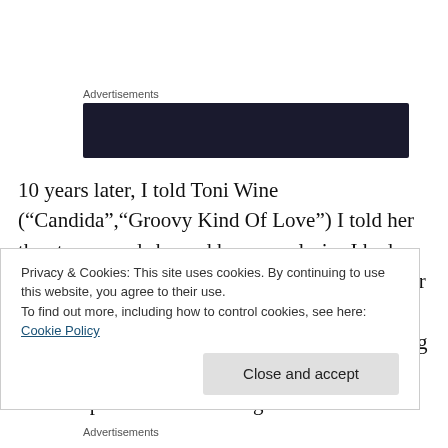Advertisements
[Figure (other): Dark/black advertisement banner block]
10 years later, I told Toni Wine (“Candida”,“Groovy Kind Of Love”) I told her the story…and showed her some lyrics I had written that fateful night, “I Lose it When I Hear “White Christmas”. She loved it, but wanted to make the story more universal. Over two writing sessions, which we actually started on Irving Berlin’s piano that Toni bought
Privacy & Cookies: This site uses cookies. By continuing to use this website, you agree to their use.
To find out more, including how to control cookies, see here: Cookie Policy
Close and accept
Advertisements